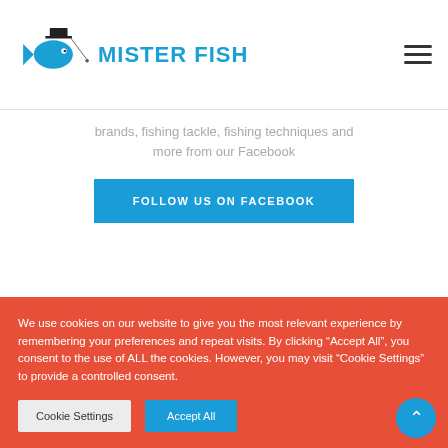[Figure (logo): Mister Fish logo with a fish wearing a top hat and the text MISTER FISH in blue]
brands, fishing tackle, fishing techniques and more from our Facebook
FOLLOW US ON FACEBOOK
Misterfish Malta
3 hours ago
We use cookies on our website to give you the most relevant experience by remembering your preferences and repeat visits. By clicking “Accept All”, you consent to the use of ALL the cookies. However, you may visit “Cookie Settings” to provide a controlled consent.
Cookie Settings
Accept All